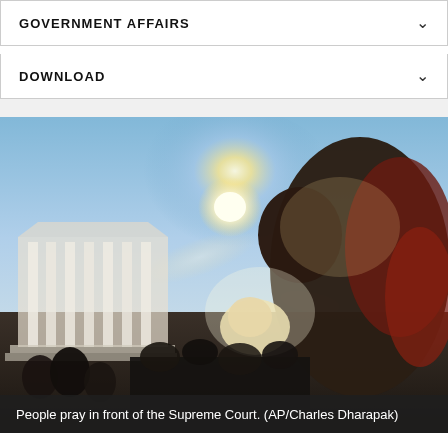GOVERNMENT AFFAIRS
DOWNLOAD
[Figure (photo): People praying in front of the US Supreme Court building, backlit by bright sunlight. A person in the foreground bows their head in prayer while holding something wrapped in a blanket. The white columns of the Supreme Court are visible in the background.]
People pray in front of the Supreme Court. (AP/Charles Dharapak)